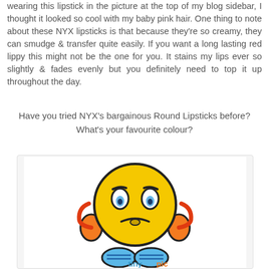wearing this lipstick in the picture at the top of my blog sidebar, I thought it looked so cool with my baby pink hair. One thing to note about these NYX lipsticks is that because they're so creamy, they can smudge & transfer quite easily. If you want a long lasting red lippy this might not be the one for you. It stains my lips ever so slightly & fades evenly but you definitely need to top it up throughout the day.
Have you tried NYX's bargainous Round Lipsticks before? What's your favourite colour?
[Figure (illustration): A cartoon character with a yellow round face showing a frowning/grumpy expression, with orange ear-like protrusions, blue feet/shoes, and colorful 'tinypic' logo text at the bottom]